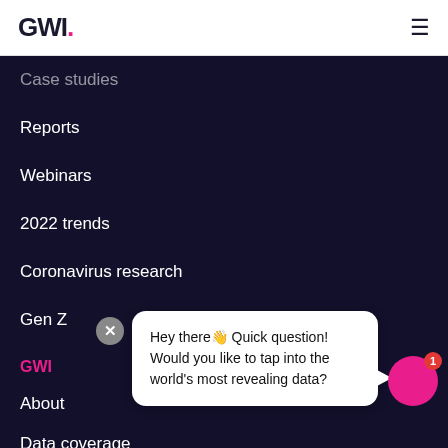GWI.
Case studies
Reports
Webinars
2022 trends
Coronavirus research
Gen Z
GWI
About
Data coverage
Careers
Hey there👋 Quick question! Would you like to tap into the world's most revealing data?